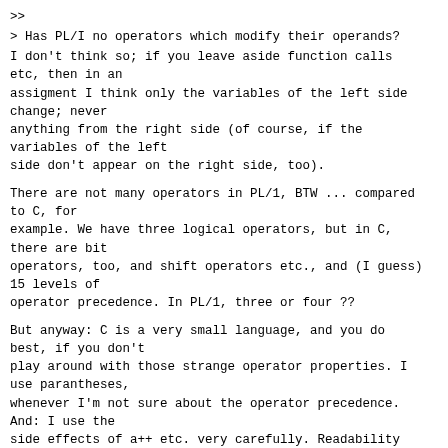>>
> Has PL/I no operators which modify their operands?
I don't think so; if you leave aside function calls etc, then in an
assigment I think only the variables of the left side change; never
anything from the right side (of course, if the variables of the left
side don't appear on the right side, too).
There are not many operators in PL/1, BTW ... compared to C, for
example. We have three logical operators, but in C, there are bit
operators, too, and shift operators etc., and (I guess) 15 levels of
operator precedence. In PL/1, three or four ??
But anyway: C is a very small language, and you do best, if you don't
play around with those strange operator properties. I use parantheses,
whenever I'm not sure about the operator precedence. And: I use the
side effects of a++ etc. very carefully. Readability and
maintainability (does that word exist?) of the code is a very
important goal.